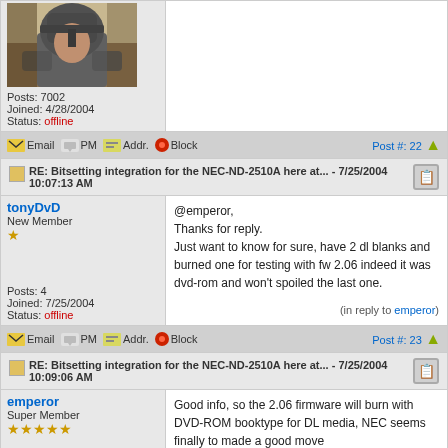[Figure (photo): User avatar showing a warrior/knight in armor with a helmet]
Posts: 7002
Joined: 4/28/2004
Status: offline
Email PM Addr. Block | Post #: 22 ↑
RE: Bitsetting integration for the NEC-ND-2510A here at... - 7/25/2004 10:07:13 AM
tonyDvD
New Member
★
Posts: 4
Joined: 7/25/2004
Status: offline
@emperor,
Thanks for reply.
Just want to know for sure, have 2 dl blanks and burned one for testing with fw 2.06 indeed it was dvd-rom and won't spoiled the last one.
(in reply to emperor)
Email PM Addr. Block | Post #: 23 ↑
RE: Bitsetting integration for the NEC-ND-2510A here at... - 7/25/2004 10:09:06 AM
emperor
Super Member
★★★★★
Good info, so the 2.06 firmware will burn with DVD-ROM booktype for DL media, NEC seems finally to made a good move